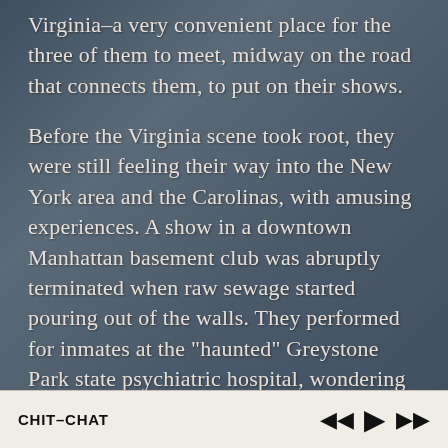Virginia–a very convenient place for the three of them to meet, midway on the road that connects them, to put on their shows.

Before the Virginia scene took root, they were still feeling their way into the New York area and the Carolinas, with amusing experiences. A show in a downtown Manhattan basement club was abruptly terminated when raw sewage started pouring out of the walls. They performed for inmates at the "haunted" Greystone Park state psychiatric hospital, wondering about their song choices while playing "She Drives Me Crazy" with a guy staring Gordon down and muttering "Jihad!" They played a few shows at a neo-hippy art-scene hookah bar in Wilmington NC, and
CHIT–CHAT